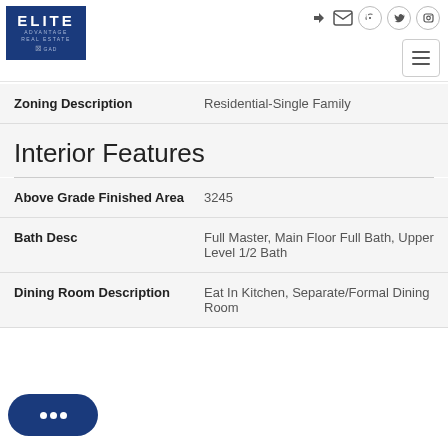[Figure (logo): Elite Advantage Real Estate logo on dark blue background with MGD branding]
| Field | Value |
| --- | --- |
| Zoning Description | Residential-Single Family |
| Above Grade Finished Area | 3245 |
| Bath Desc | Full Master, Main Floor Full Bath, Upper Level 1/2 Bath |
| Dining Room Description | Eat In Kitchen, Separate/Formal Dining Room |
Interior Features